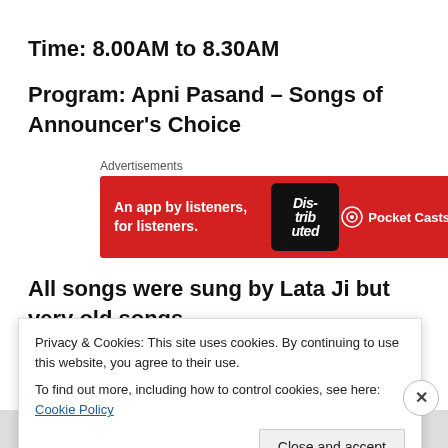Time: 8.00AM to 8.30AM
Program: Apni Pasand – Songs of Announcer's Choice
[Figure (other): Pocket Casts advertisement banner: red background with text 'An app by listeners, for listeners.' and a phone graphic with 'Dis trib uted' text, and Pocket Casts logo]
All songs were sung by Lata Ji but very old songs selected
Privacy & Cookies: This site uses cookies. By continuing to use this website, you agree to their use.
To find out more, including how to control cookies, see here: Cookie Policy
Close and accept